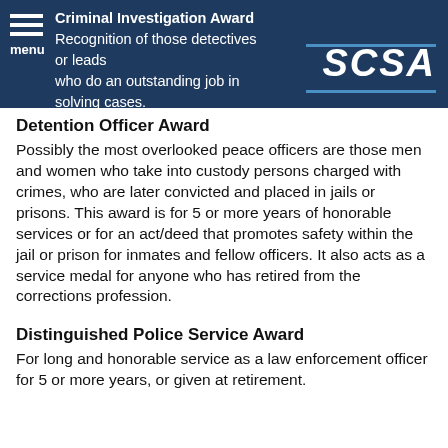Criminal Investigation Award
Recognition of those detectives or leads
who do an outstanding job in solving cases.
Detention Officer Award
Possibly the most overlooked peace officers are those men and women who take into custody persons charged with crimes, who are later convicted and placed in jails or prisons. This award is for 5 or more years of honorable services or for an act/deed that promotes safety within the jail or prison for inmates and fellow officers. It also acts as a service medal for anyone who has retired from the corrections profession.
Distinguished Police Service Award
For long and honorable service as a law enforcement officer for 5 or more years, or given at retirement.